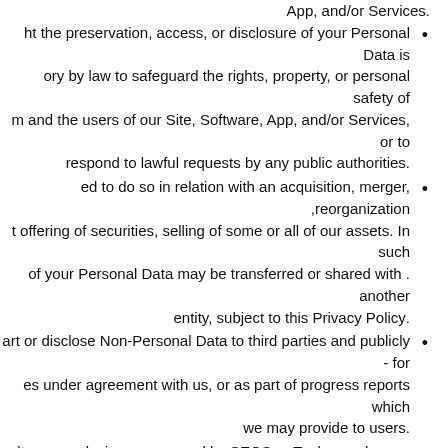.App, and/or Services
ht the preservation, access, or disclosure of your Personal Data is ory by law to safeguard the rights, property, or personal safety of m and the users of our Site, Software, App, and/or Services, or to .respond to lawful requests by any public authorities
ed to do so in relation with an acquisition, merger, reorganization, t offering of securities, selling of some or all of our assets. In such . of your Personal Data may be transferred or shared with another .entity, subject to this Privacy Policy
art or disclose Non-Personal Data to third parties and publicly - for es under agreement with us, or as part of progress reports which .we may provide to users
sults or conclusions expressed by SEOSerpTools.com has no legal .value & can't be presented in courts and other legal matters
nder no circumstances either as an electronic or digital evidence, .SEOSerpTools.com preserves all its admissibility rights
Does SEOSerpTools.com get profit for my Personal Data by selling them?
No, SEOSerpTools.com does not sell or rent your Personal Data.
Does SEOSerpTools.com use cookies?